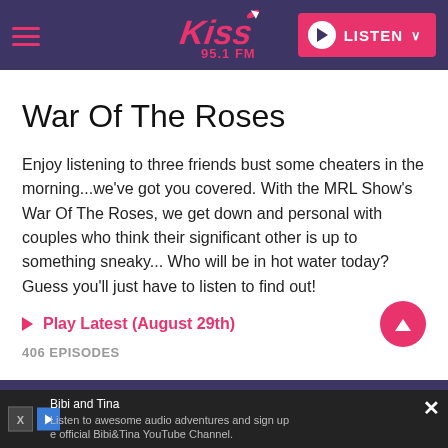Kiss 95.1 FM — LISTEN
War Of The Roses
Enjoy listening to three friends bust some cheaters in the morning...we've got you covered. With the MRL Show's War Of The Roses, we get down and personal with couples who think their significant other is up to something sneaky... Who will be in hot water today? Guess you'll just have to listen to find out!
Play Latest (August 29th)
406 EPISODES
Bibi and Tina
Listen to awesome audio adventures and sign up
e official Bibi&Tina YouTube Channel.